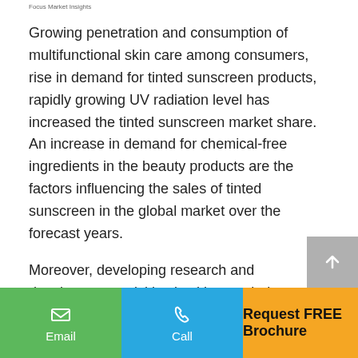Focus Market Insights
Growing penetration and consumption of multifunctional skin care among consumers, rise in demand for tinted sunscreen products, rapidly growing UV radiation level has increased the tinted sunscreen market share. An increase in demand for chemical-free ingredients in the beauty products are the factors influencing the sales of tinted sunscreen in the global market over the forecast years.
Moreover, developing research and development activities in skin care industry such as combining sunscreen with antioxidants such as vitamin C and vitamin E that minimize the sun effect on skin cells is anticipated to increase